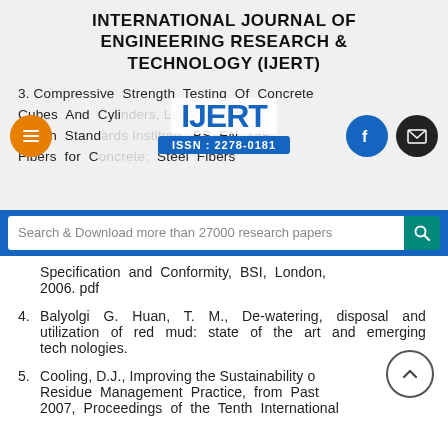INTERNATIONAL JOURNAL OF ENGINEERING RESEARCH & TECHNOLOGY (IJERT)
[Figure (logo): IJERT logo with ISSN: 2278-0181]
3. Compressive Strength Testing Of Concrete Cubes And Cylinders, London, 2002. 3 British Standards Institute, BS EN 14861 Fibers for Concrete: Steel Fibers Specification and Conformity, BSI, London, 2006. pdf
4. Balyolgi G. Huan, T. M., De-watering, disposal and utilization of red mud: state of the art and emerging tech nologies.
5. Cooling, D.J., Improving the Sustainability of Residue Management Practice, from Paste 2007, Proceedings of the Tenth International